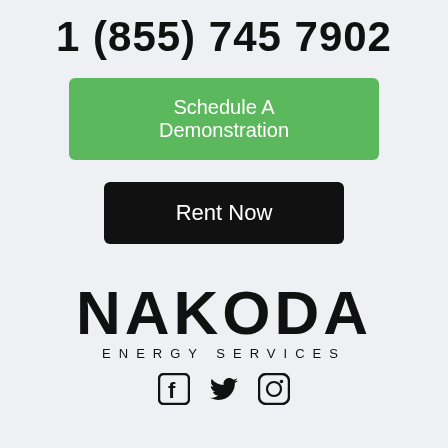1 (855) 745 7902
Schedule A Demonstration
Rent Now
[Figure (logo): Nakoda Energy Services logo — large bold black text NAKODA above smaller spaced text ENERGY SERVICES]
[Figure (other): Social media icons: Facebook, Twitter, Instagram]